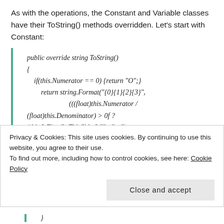As with the operations, the Constant and Variable classes have their ToString() methods overridden. Let's start with Constant:
public override string ToString()
{
    if(this.Numerator == 0) {return "0";}

        return string.Format("{0}{1}{2}{3}",
                        (((float)this.Numerator /
(float)this.Denominator) > 0f ?
(this.IsFirstOnThisSide ? "" : "+ ") :
(this.IsFirstOnThisSide ? "-" : "- ")
}
Privacy & Cookies: This site uses cookies. By continuing to use this website, you agree to their use.
To find out more, including how to control cookies, see here: Cookie Policy
Close and accept